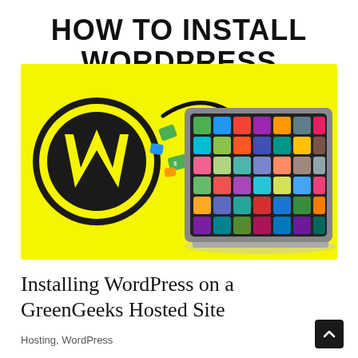HOW TO INSTALL WORDPRESS
[Figure (illustration): Yellow background banner image showing the WordPress logo (dark circle with W) on the left, a curved arrow pointing right toward a laptop computer whose screen displays a colorful grid of app icons, with some icons flying off the screen.]
Installing WordPress on a GreenGeeks Hosted Site
Hosting, WordPress